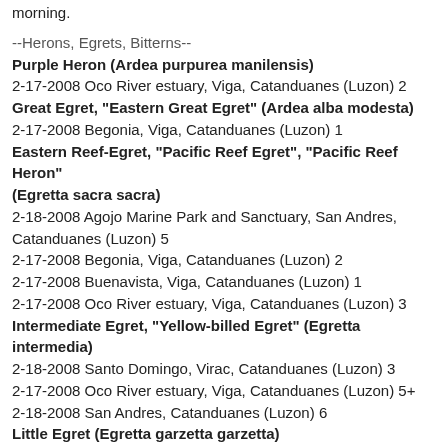morning.
--Herons, Egrets, Bitterns--
Purple Heron (Ardea purpurea manilensis)
2-17-2008 Oco River estuary, Viga, Catanduanes (Luzon) 2
Great Egret, "Eastern Great Egret" (Ardea alba modesta)
2-17-2008 Begonia, Viga, Catanduanes (Luzon) 1
Eastern Reef-Egret, "Pacific Reef Egret", "Pacific Reef Heron" (Egretta sacra sacra)
2-18-2008 Agojo Marine Park and Sanctuary, San Andres, Catanduanes (Luzon) 5
2-17-2008 Begonia, Viga, Catanduanes (Luzon) 2
2-17-2008 Buenavista, Viga, Catanduanes (Luzon) 1
2-17-2008 Oco River estuary, Viga, Catanduanes (Luzon) 3
Intermediate Egret, "Yellow-billed Egret" (Egretta intermedia)
2-18-2008 Santo Domingo, Virac, Catanduanes (Luzon) 3
2-17-2008 Oco River estuary, Viga, Catanduanes (Luzon) 5+
2-18-2008 San Andres, Catanduanes (Luzon) 6
Little Egret (Egretta garzetta garzetta)
2-17-2008 Gigmoto, Catanduanes (Luzon) present
2-17-2008 Viga, Catanduanes (Luzon) present
2-17-2008 Virac, Catanduanes (Luzon) present